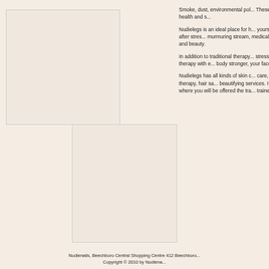[Figure (photo): Placeholder image box 1 (upper left)]
[Figure (photo): Placeholder image box 2 (lower center-left)]
Smoke, dust, environmental pol... These things affect health and s...
Nudielegs is an ideal place for h... yourself, tired feeling after stres... murmuring stream, medical herb... health and beauty.
In addition to traditional therapy... stress-decreasing therapy with e... body stronger, your face more w...
Nudielegs has all kinds of skin c... care, stress free therapy, hair sa... beautifying services. If you wan... where you will be offered the tra... trainers.
Nudienails, Beechboro Central Shopping Centre 412 Beechbor...
Copyright © 2010 by Nudienai...